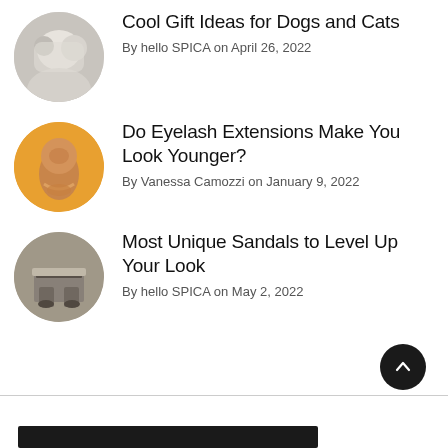Cool Gift Ideas for Dogs and Cats — By hello SPICA on April 26, 2022
Do Eyelash Extensions Make You Look Younger? — By Vanessa Camozzi on January 9, 2022
Most Unique Sandals to Level Up Your Look — By hello SPICA on May 2, 2022